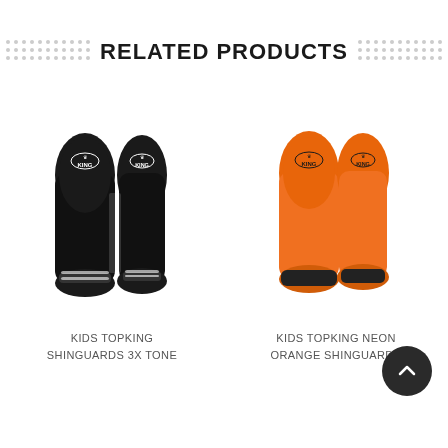RELATED PRODUCTS
[Figure (photo): Black Kids Topking shin guards (3x tone) laid flat, showing two pads side by side with white logo branding]
KIDS TOPKING SHINGUARDS 3X TONE
[Figure (photo): Orange Kids Topking neon orange shin guards laid flat, showing two pads side by side with logo branding]
KIDS TOPKING NEON ORANGE SHINGUARDS